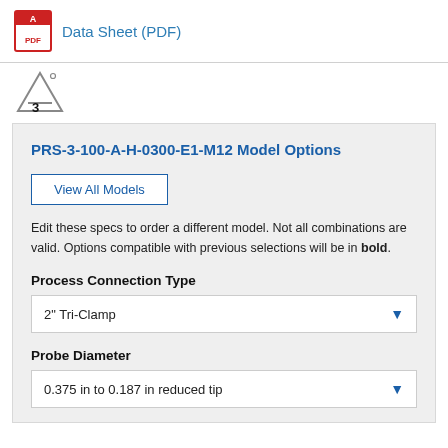[Figure (logo): PDF file icon with red border and 'PDF' label]
Data Sheet (PDF)
[Figure (logo): A3 brand logo with stylized letter A and number 3]
PRS-3-100-A-H-0300-E1-M12 Model Options
View All Models
Edit these specs to order a different model. Not all combinations are valid. Options compatible with previous selections will be in bold.
Process Connection Type
2" Tri-Clamp
Probe Diameter
0.375 in to 0.187 in reduced tip